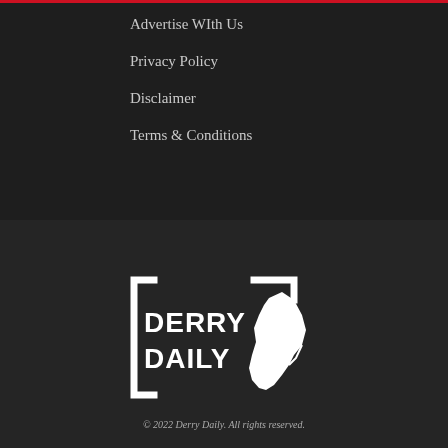Advertise WIth Us
Privacy Policy
Disclaimer
Terms & Conditions
[Figure (logo): Derry Daily logo — white text 'DERRY DAILY' with stylized bracket frame and white map silhouette of the Derry region]
© 2022 Derry Daily. All rights reserved.